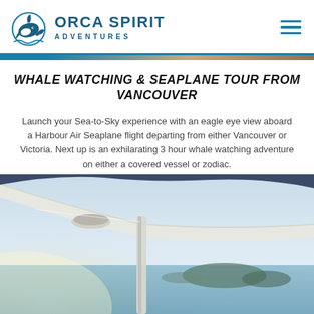[Figure (logo): Orca Spirit Adventures logo with orca whale icon and brand name]
WHALE WATCHING & SEAPLANE TOUR FROM VANCOUVER
Launch your Sea-to-Sky experience with an eagle eye view aboard a Harbour Air Seaplane flight departing from either Vancouver or Victoria. Next up is an exhilarating 3 hour whale watching adventure on either a covered vessel or zodiac.
[Figure (photo): View from inside a seaplane showing the wing and strut with ocean, islands and sky visible below]